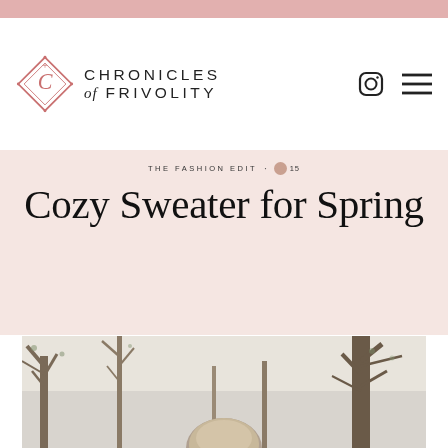Chronicles of Frivolity
THE FASHION EDIT · 15
Cozy Sweater for Spring
[Figure (photo): Woman standing outdoors among bare trees, photographed from slightly above, showing top of her head with blonde/dark hair. Background shows winter trees with sparse foliage and bright sky.]